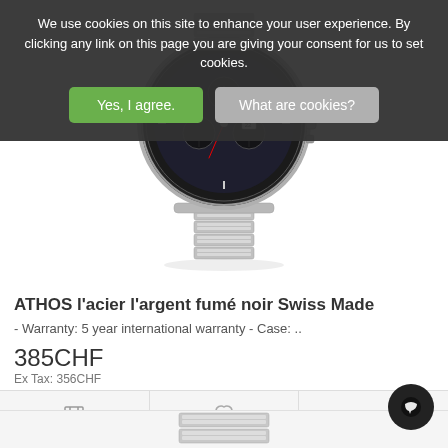We use cookies on this site to enhance your user experience. By clicking any link on this page you are giving your consent for us to set cookies.
[Figure (photo): A silver and dark-faced chronograph watch (ATHOS model) with metal bracelet, displayed on white background]
ATHOS l'acier l'argent fumé noir Swiss Made
- Warranty: 5 year international warranty - Case: ..
385CHF
Ex Tax: 356CHF
[Figure (photo): Bottom portion of a silver watch bracelet, partially visible at the bottom of the page]